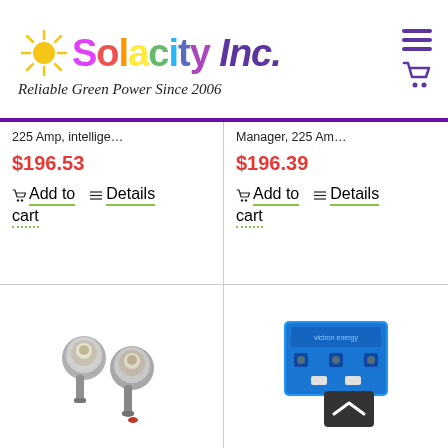[Figure (logo): Solacity Inc. logo with colorful text and sun graphic, tagline 'Reliable Green Power Since 2006']
225 Amp, intellige…
$196.53
Add to cart   Details
Manager, 225 Am…
$196.39
Add to cart   Details
[Figure (photo): Two metallic bolt/connector components]
[Figure (photo): Blue Victron energy battery isolator device]